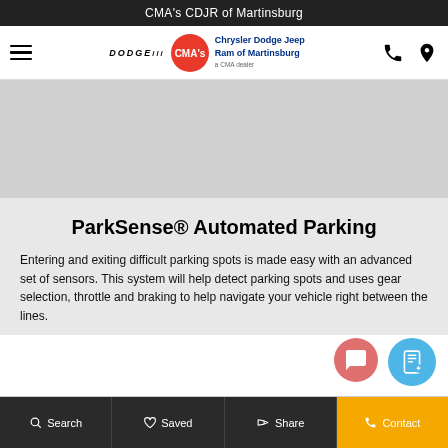CMA's CDJR of Martinsburg
[Figure (logo): Navigation bar with hamburger menu, Dodge and Chrysler Dodge Jeep Ram of Martinsburg logo, phone and location icons]
[Figure (photo): Gray image placeholder area]
ParkSense® Automated Parking
Entering and exiting difficult parking spots is made easy with an advanced set of sensors. This system will help detect parking spots and uses gear selection, throttle and braking to help navigate your vehicle right between the lines.
Search | Saved | Share | Contact